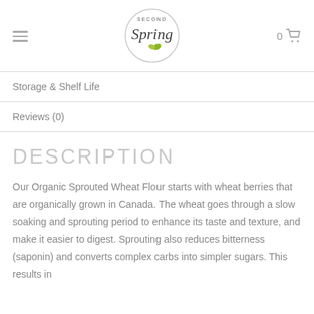Second Spring (logo), hamburger menu, cart (0)
Storage & Shelf Life
Reviews (0)
DESCRIPTION
Our Organic Sprouted Wheat Flour starts with wheat berries that are organically grown in Canada. The wheat goes through a slow soaking and sprouting period to enhance its taste and texture, and make it easier to digest. Sprouting also reduces bitterness (saponin) and converts complex carbs into simpler sugars. This results in